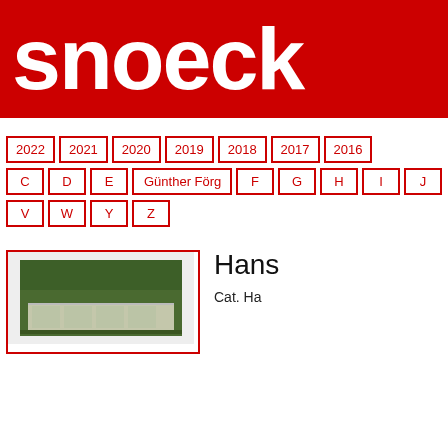snoeck
2022
2021
2020
2019
2018
2017
2016
C
D
E
Günther Förg
F
G
H
I
J
V
W
Y
Z
[Figure (photo): Book cover photo showing a green architectural structure with columns]
Hans
Cat. Ha